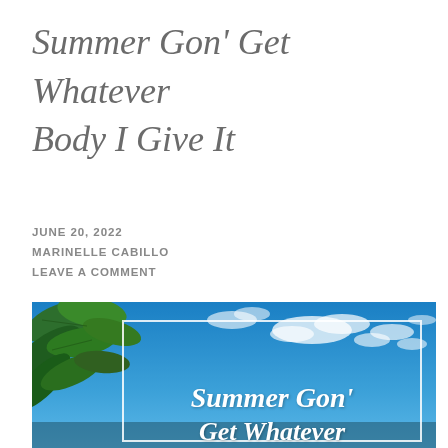Summer Gon’ Get Whatever Body I Give It
JUNE 20, 2022
MARINELLE CABILLO
LEAVE A COMMENT
[Figure (photo): Outdoor photo with blue sky, white clouds, green tropical leaves in upper left corner, and a white-bordered text overlay reading 'Summer Gon' Get Whatever' in white italic script]